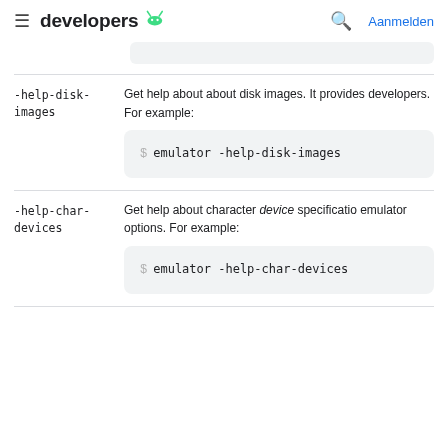≡ developers 🤖  🔍 Aanmelden
-help-disk-images    Get help about about disk images. It provides developers. For example:
$ emulator -help-disk-images
-help-char-devices    Get help about character device specifications emulator options. For example:
$ emulator -help-char-devices